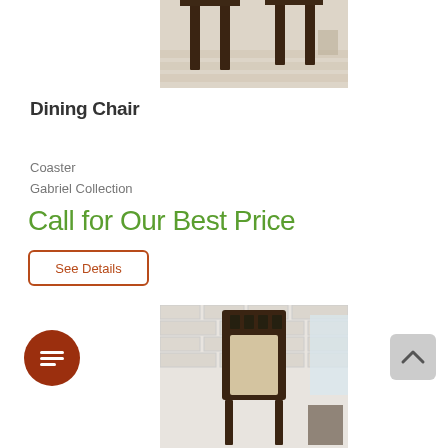[Figure (photo): Partial view of a dark wood table/chair legs on a light wood floor]
Dining Chair
Coaster
Gabriel Collection
Call for Our Best Price
See Details
[Figure (photo): Dark wood dining chair with upholstered back panel and seat, against a white brick wall]